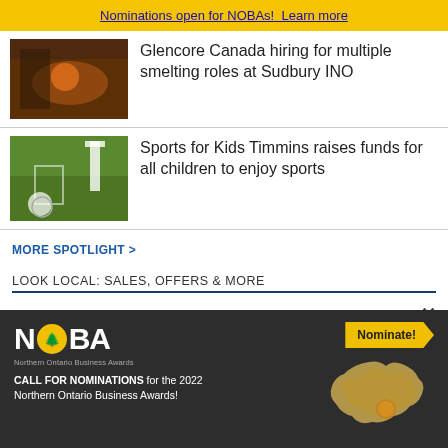Nominations open for NOBAs! Learn more
Glencore Canada hiring for multiple smelting roles at Sudbury INO
Sports for Kids Timmins raises funds for all children to enjoy sports
MORE SPOTLIGHT >
LOOK LOCAL: SALES, OFFERS & MORE
Home Internet, TV and Phone in Northern Ontario
Get a Free Community Hub Program with any annual...
[Figure (advertisement): NOBA Northern Ontario Business Awards ad. Yellow and dark background with N BA logo (O has tree icon), Nominate! button, map of Northern Ontario, CALL FOR NOMINATIONS for the 2022 Northern Ontario Business Awards!]